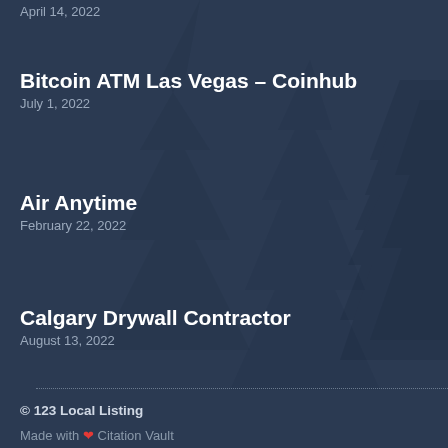Bitcoin ATM Las Vegas – Coinhub
July 1, 2022
Air Anytime
February 22, 2022
Calgary Drywall Contractor
August 13, 2022
© 123 Local Listing
Made with ♥ Citation Vault